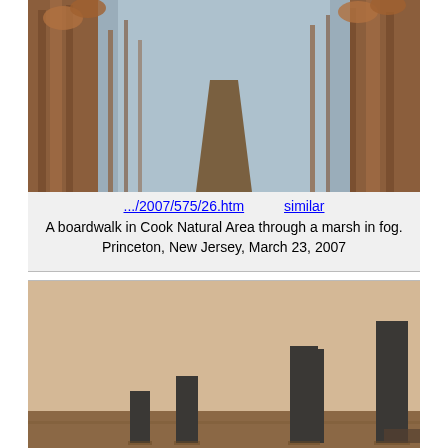[Figure (photo): A boardwalk path through a marsh with tall brown reeds in fog]
.../2007/575/26.htm    similar
A boardwalk in Cook Natural Area through a marsh in fog. Princeton, New Jersey, March 23, 2007
[Figure (photo): Several tall dark rectangular monolith sculptures of varying heights in a desert landscape]
.../2014/1509/02.htm    similar